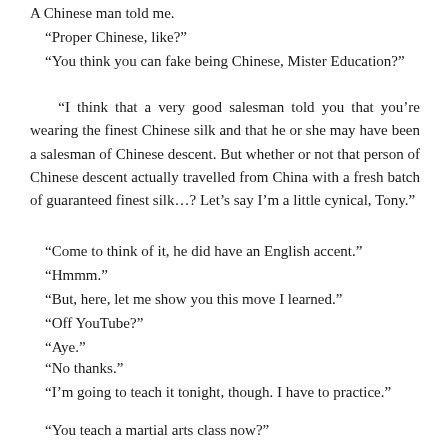A Chinese man told me.
“Proper Chinese, like?”
“You think you can fake being Chinese, Mister Education?”
“I think that a very good salesman told you that you’re wearing the finest Chinese silk and that he or she may have been a salesman of Chinese descent. But whether or not that person of Chinese descent actually travelled from China with a fresh batch of guaranteed finest silk…? Let’s say I’m a little cynical, Tony.”
“Come to think of it, he did have an English accent.”
“Hmmm.”
“But, here, let me show you this move I learned.”
“Off YouTube?”
“Aye.”
“No thanks.”
“I’m going to teach it tonight, though. I have to practice.”
“You teach a martial arts class now?”
“Yeah.”